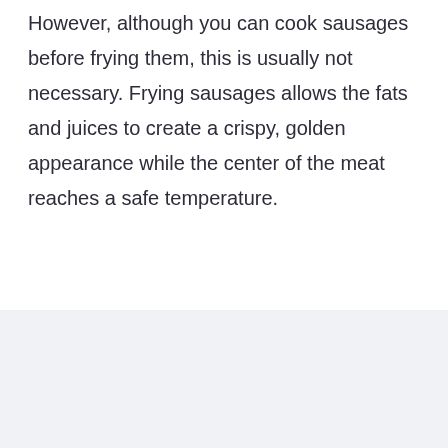before frying. However, although you can cook sausages before frying them, this is usually not necessary. Frying sausages allows the fats and juices to create a crispy, golden appearance while the center of the meat reaches a safe temperature.